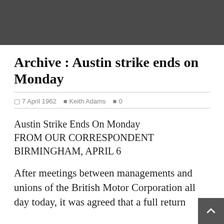Archive : Austin strike ends on Monday
7 April 1962  Keith Adams  0
Austin Strike Ends On Monday FROM OUR CORRESPONDENT BIRMINGHAM, APRIL 6
After meetings between managements and unions of the British Motor Corporation all day today, it was agreed that a full return